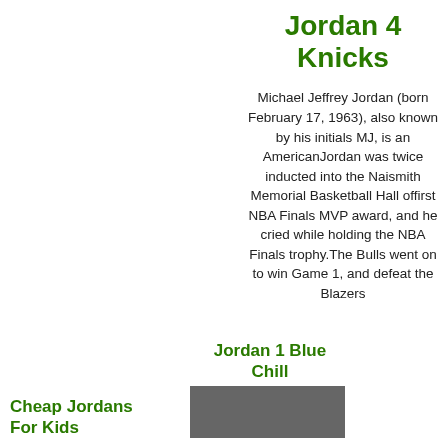Jordan 4 Knicks
Michael Jeffrey Jordan (born February 17, 1963), also known by his initials MJ, is an AmericanJordan was twice inducted into the Naismith Memorial Basketball Hall offirst NBA Finals MVP award, and he cried while holding the NBA Finals trophy.The Bulls went on to win Game 1, and defeat the Blazers
Jordan 1 Blue Chill
Cheap Jordans For Kids